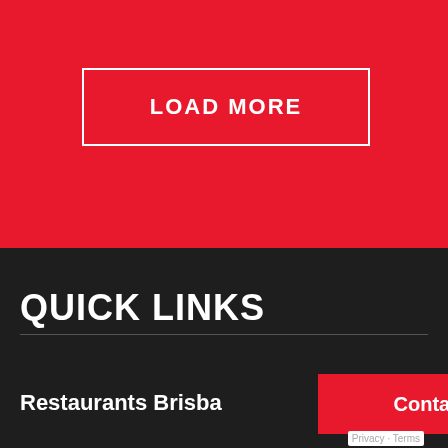[Figure (screenshot): Red background section of a website with a 'LOAD MORE' button outlined in white]
LOAD MORE
QUICK LINKS
Restaurants Brisba
Contact Venue
Privacy · Terms